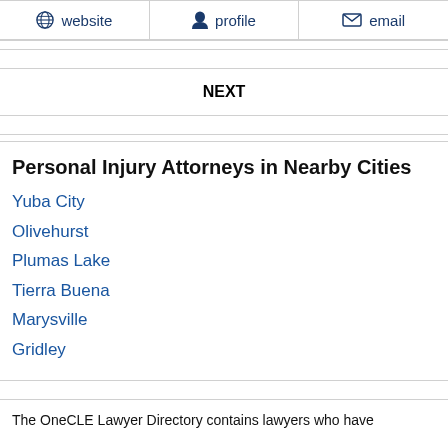website | profile | email
NEXT
Personal Injury Attorneys in Nearby Cities
Yuba City
Olivehurst
Plumas Lake
Tierra Buena
Marysville
Gridley
The OneCLE Lawyer Directory contains lawyers who have